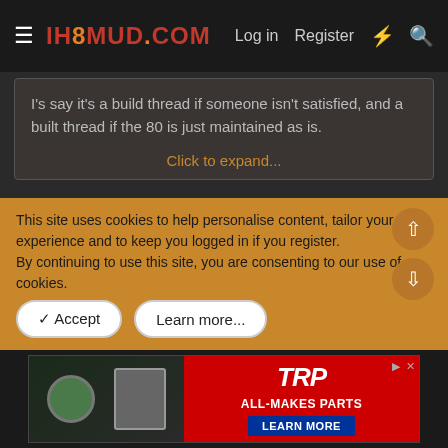IH8MUD.COM — Log in  Register
I's say it's a build thread if someone isn't satisfied, and a built thread if the 80 is just maintained as is.

Click to expand...
The ego thing was just my sarcastic humor coming through. Many have asked me if I have a build thread, so I started digging to see what I had documented. I figured if I threw up it's complete evolution it would help people understand how I ended up where it is now, and hopefully
This site uses cookies to help personalise content, tailor your experience and to keep you logged in if you register.
By continuing to use this site, you are consenting to our use of cookies.
[Figure (other): Advertisement banner for TRP ALL-MAKES PARTS with LEARN MORE button]